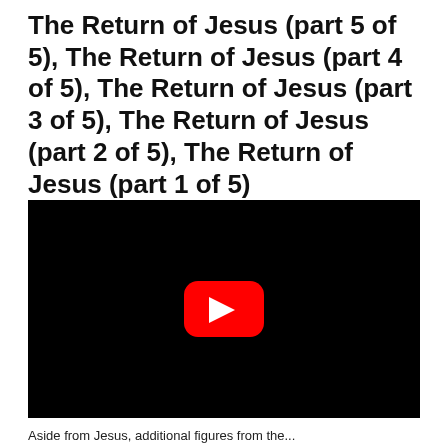The Return of Jesus (part 5 of 5), The Return of Jesus (part 4 of 5), The Return of Jesus (part 3 of 5), The Return of Jesus (part 2 of 5), The Return of Jesus (part 1 of 5)
[Figure (screenshot): Embedded YouTube video player with black background and red YouTube play button in the center]
Aside from Jesus, additional figures from the...